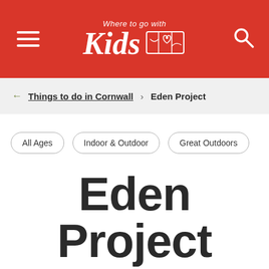Where to go with Kids
Things to do in Cornwall > Eden Project
All Ages
Indoor & Outdoor
Great Outdoors
Eden Project